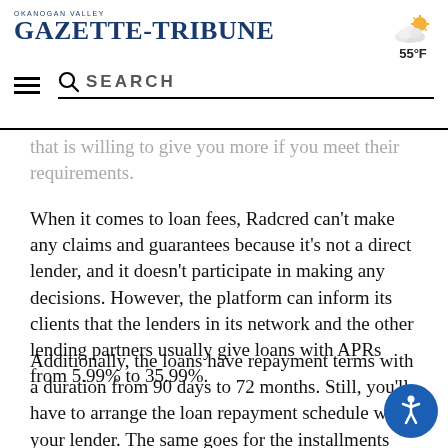OKANOGAN VALLEY GAZETTE-TRIBUNE | 55°F | SEARCH
that is willing to give you more if you meet their requirements.
When it comes to loan fees, Radcred can't make any claims and guarantees because it's not a direct lender, and it doesn't participate in making any decisions. However, the platform can inform its clients that the lenders in its network and the other lending partners usually give loans with APRs from 5.99% to 35.99%.
Additionally, the loans have repayment terms with a duration from 90 days to 72 months. Still, you'll have to arrange the loan repayment schedule with your lender. The same goes for the installments